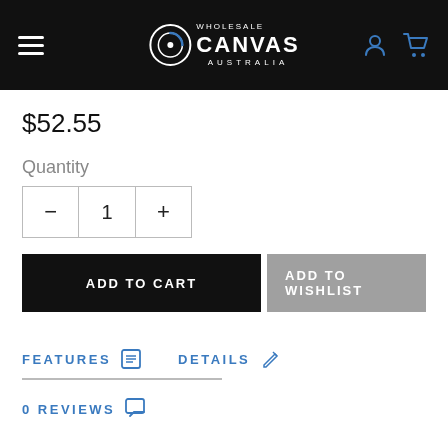Wholesale Canvas Australia
$52.55
Quantity
1
ADD TO CART
ADD TO WISHLIST
FEATURES
DETAILS
0 REVIEWS